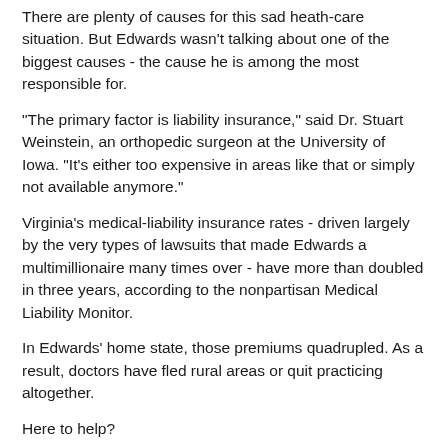There are plenty of causes for this sad heath-care situation. But Edwards wasn't talking about one of the biggest causes - the cause he is among the most responsible for.
"The primary factor is liability insurance," said Dr. Stuart Weinstein, an orthopedic surgeon at the University of Iowa. "It's either too expensive in areas like that or simply not available anymore."
Virginia's medical-liability insurance rates - driven largely by the very types of lawsuits that made Edwards a multimillionaire many times over - have more than doubled in three years, according to the nonpartisan Medical Liability Monitor.
In Edwards' home state, those premiums quadrupled. As a result, doctors have fled rural areas or quit practicing altogether.
Here to help?
No, thanks.
So it seems that there may be something to the claim so